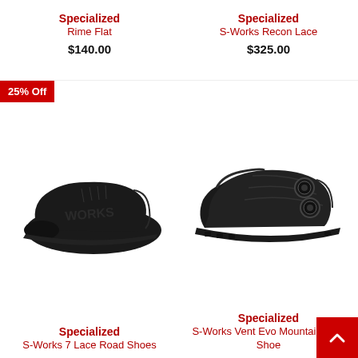Specialized
Rime Flat
$140.00
Specialized
S-Works Recon Lace
$325.00
[Figure (photo): 25% Off badge on black Specialized S-Works 7 Lace Road cycling shoe viewed from the side]
[Figure (photo): Black Specialized S-Works Vent Evo Mountain Bike Shoe viewed from the side with BOA closure dials]
Specialized
S-Works 7 Lace Road Shoes
Specialized
S-Works Vent Evo Mountain Bike Shoe